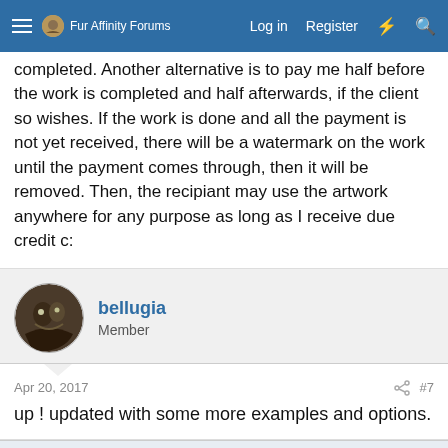Fur Affinity Forums — Log in | Register
completed. Another alternative is to pay me half before the work is completed and half afterwards, if the client so wishes. If the work is done and all the payment is not yet received, there will be a watermark on the work until the payment comes through, then it will be removed. Then, the recipiant may use the artwork anywhere for any purpose as long as I receive due credit c:
bellugia
Member
Apr 20, 2017
#7
up ! updated with some more examples and options.
This site uses cookies to help personalise content, tailor your experience and to keep you logged in if you register.
By continuing to use this site, you are consenting to our use of cookies.